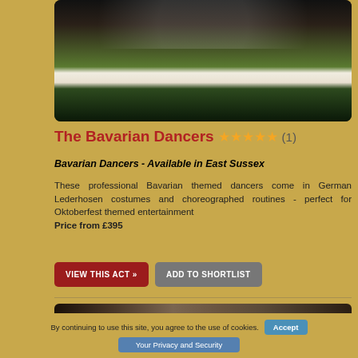[Figure (photo): Group of Bavarian themed dancers wearing white blouses and green Lederhosen costumes posed together]
The Bavarian Dancers ★★★★★ (1)
Bavarian Dancers - Available in East Sussex
These professional Bavarian themed dancers come in German Lederhosen costumes and choreographed routines - perfect for Oktoberfest themed entertainment
Price from £395
VIEW THIS ACT »
ADD TO SHORTLIST
[Figure (photo): Bottom portion of another listing showing a wooden panel background]
By continuing to use this site, you agree to the use of cookies.
Accept
Your Privacy and Security